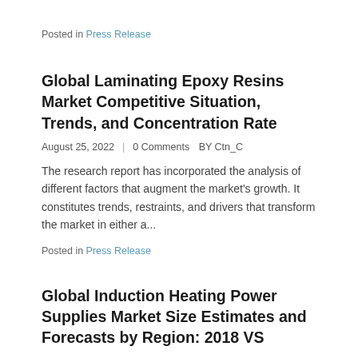Posted in Press Release
Global Laminating Epoxy Resins Market Competitive Situation, Trends, and Concentration Rate
August 25, 2022 | 0 Comments BY Ctn_C
The research report has incorporated the analysis of different factors that augment the market's growth. It constitutes trends, restraints, and drivers that transform the market in either a...
Posted in Press Release
Global Induction Heating Power Supplies Market Size Estimates and Forecasts by Region: 2018 VS